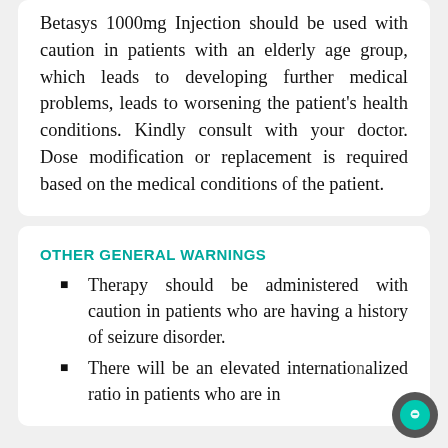Betasys 1000mg Injection should be used with caution in patients with an elderly age group, which leads to developing further medical problems, leads to worsening the patient's health conditions. Kindly consult with your doctor. Dose modification or replacement is required based on the medical conditions of the patient.
OTHER GENERAL WARNINGS
Therapy should be administered with caution in patients who are having a history of seizure disorder.
There will be an elevated international normalized ratio in patients who are in